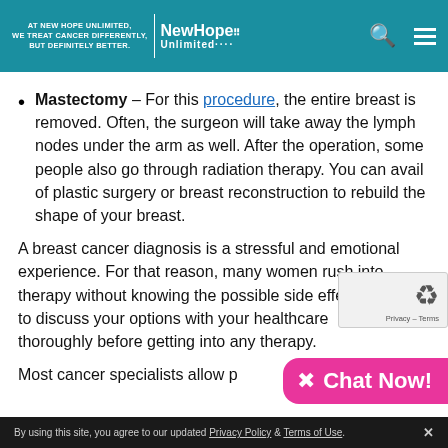AT NEW HOPE UNLIMITED, WE TREAT CANCER DIFFERENTLY, BUT DEFINITELY BETTER. | New Hope Unlimited
Mastectomy – For this procedure, the entire breast is removed. Often, the surgeon will take away the lymph nodes under the arm as well. After the operation, some people also go through radiation therapy. You can avail of plastic surgery or breast reconstruction to rebuild the shape of your breast.
A breast cancer diagnosis is a stressful and emotional experience. For that reason, many women rush into therapy without knowing the possible side effects. Be sure to discuss your options with your healthcare team thoroughly before getting into any therapy.
Most cancer specialists allow p...
By using this site, you agree to our updated Privacy Policy & Terms of Use.